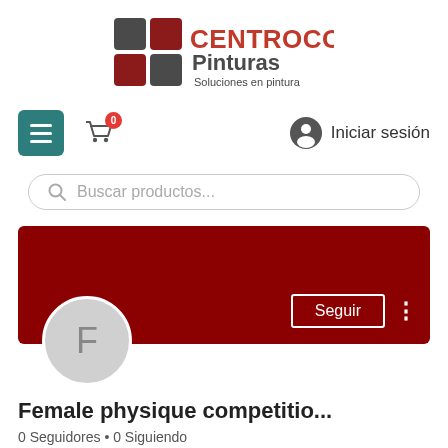[Figure (logo): Centrocolor Pinturas logo with red and dark gray square grid icon and text 'CENTROCOLOR Pinturas Soluciones en pintura']
[Figure (screenshot): Navigation bar with hamburger menu (teal), shopping cart icon with badge '0', user icon and 'Iniciar sesión' text]
[Figure (screenshot): Search bar with placeholder text 'Buscar productos...' and magnifying glass icon]
[Figure (screenshot): Profile banner: dark red background, circular avatar with letter F, 'Seguir' button with border, three-dot menu]
Female physique competitio...
0 Seguidores • 0 Siguiendo